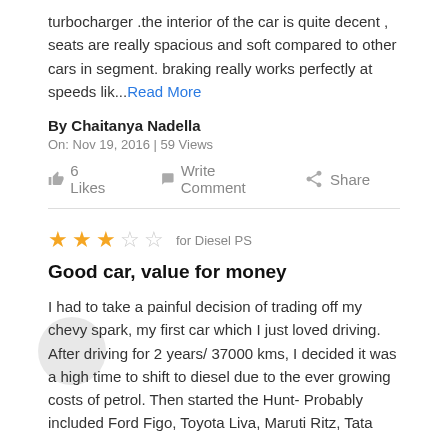turbocharger .the interior of the car is quite decent , seats are really spacious and soft compared to other cars in segment. braking really works perfectly at speeds lik...Read More
By Chaitanya Nadella
On: Nov 19, 2016 | 59 Views
6 Likes   Write Comment   Share
★★★☆☆ for Diesel PS
Good car, value for money
I had to take a painful decision of trading off my chevy spark, my first car which I just loved driving. After driving for 2 years/ 37000 kms, I decided it was a high time to shift to diesel due to the ever growing costs of petrol. Then started the Hunt- Probably included Ford Figo, Toyota Liva, Maruti Ritz, Tata